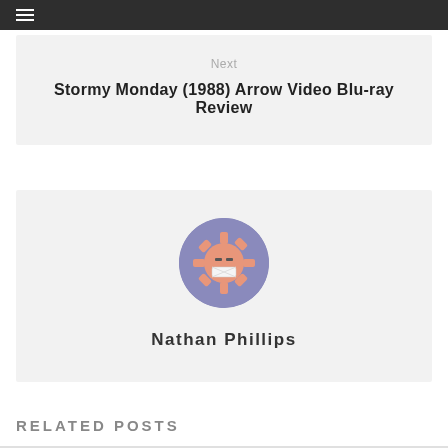≡
Next
Stormy Monday (1988) Arrow Video Blu-ray Review
[Figure (illustration): A circular avatar icon with a purple/lavender background showing a cartoon gear/cog character with a bandage over its mouth and dashed eyes, suggesting a silenced or muted robot-like face. The character body is salmon/peach colored.]
Nathan Phillips
RELATED POSTS